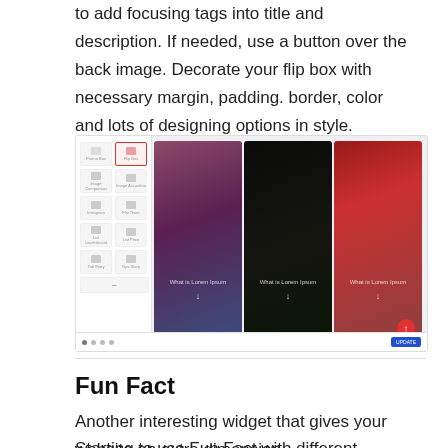to add focusing tags into title and description. If needed, use a button over the back image. Decorate your flip box with necessary margin, padding. border, color and lots of designing options in style.
[Figure (screenshot): A screenshot of a page builder UI on the left showing widget options including Flip Box selected, alongside three flip box demo cards showing portraits of women with 'What is Lorem Ipsum' overlaid text.]
Fun Fact
Another interesting widget that gives your website an extra dimension.
Starting to use Fun Fact with different modified demos. In